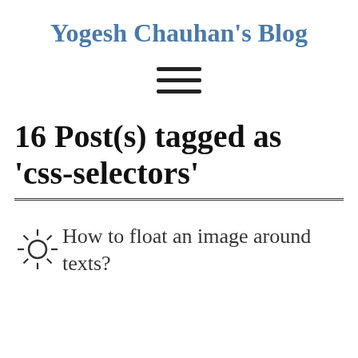Yogesh Chauhan's Blog
[Figure (other): Hamburger menu icon (three horizontal lines)]
16 Post(s) tagged as 'css-selectors'
How to float an image around texts?